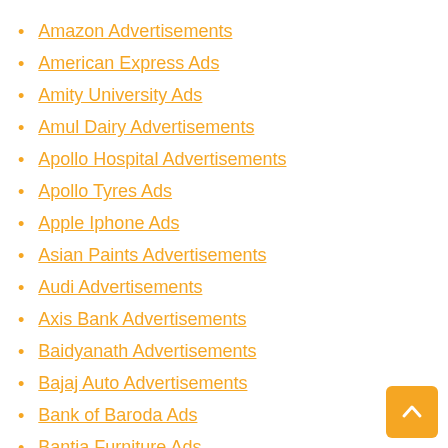Amazon Advertisements
American Express Ads
Amity University Ads
Amul Dairy Advertisements
Apollo Hospital Advertisements
Apollo Tyres Ads
Apple Iphone Ads
Asian Paints Advertisements
Audi Advertisements
Axis Bank Advertisements
Baidyanath Advertisements
Bajaj Auto Advertisements
Bank of Baroda Ads
Bantia Furniture Ads